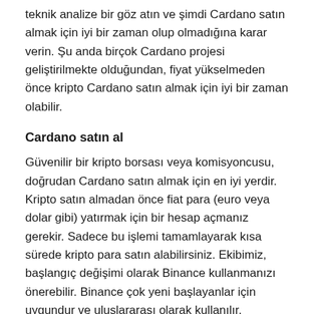teknik analize bir göz atın ve şimdi Cardano satın almak için iyi bir zaman olup olmadığına karar verin. Şu anda birçok Cardano projesi geliştirilmekte olduğundan, fiyat yükselmeden önce kripto Cardano satın almak için iyi bir zaman olabilir.
Cardano satın al
Güvenilir bir kripto borsası veya komisyoncusu, doğrudan Cardano satın almak için en iyi yerdir. Kripto satın almadan önce fiat para (euro veya dolar gibi) yatırmak için bir hesap açmanız gerekir. Sadece bu işlemi tamamlayarak kısa sürede kripto para satın alabilirsiniz. Ekibimiz, başlangıç değişimi olarak Binance kullanmanızı önerebilir. Binance çok yeni başlayanlar için uygundur ve uluslararası olarak kullanılır.
Cardano haber tahmini